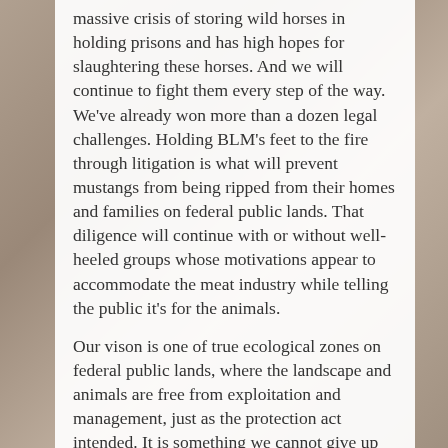massive crisis of storing wild horses in holding prisons and has high hopes for slaughtering these horses. And we will continue to fight them every step of the way. We've already won more than a dozen legal challenges. Holding BLM's feet to the fire through litigation is what will prevent mustangs from being ripped from their homes and families on federal public lands. That diligence will continue with or without well-heeled groups whose motivations appear to accommodate the meat industry while telling the public it's for the animals.
Our vison is one of true ecological zones on federal public lands, where the landscape and animals are free from exploitation and management, just as the protection act intended. It is something we cannot give up on. We are thankful to our members who help us make that vision a reality through our legal efforts, which have become even more important as others